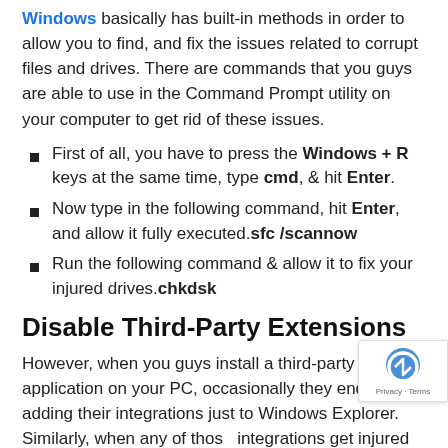Windows basically has built-in methods in order to allow you to find, and fix the issues related to corrupt files and drives. There are commands that you guys are able to use in the Command Prompt utility on your computer to get rid of these issues.
First of all, you have to press the Windows + R keys at the same time, type cmd, & hit Enter.
Now type in the following command, hit Enter, and allow it fully executed.sfc /scannow
Run the following command & allow it to fix your injured drives.chkdsk
Disable Third-Party Extensions
However, when you guys install a third-party application on your PC, occasionally they end-up adding their integrations just to Windows Explorer. Similarly, when any of those integrations get injured for whatever cause they cause Explorer just to crash as it is unable to control a broken